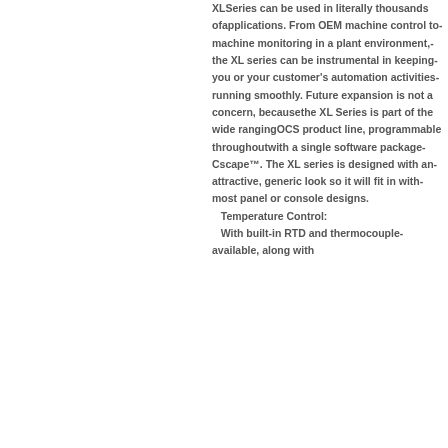XLSeries can be used in literally thousands ofapplications. From OEM machine control tomachine monitoring in a plant environment,the XL series can be instrumental in keepingyou or your customer's automation activitiesrunning smoothly. Future expansion is not a concern, becausethe XL Series is part of the wide rangingOCS product line, programmable throughoutwith a single software packageCscape™. The XL series is designed with anattractive, generic look so it will fit in withmost panel or console designs. Temperature Control: With built-in RTD and thermocoupleavailable, along with